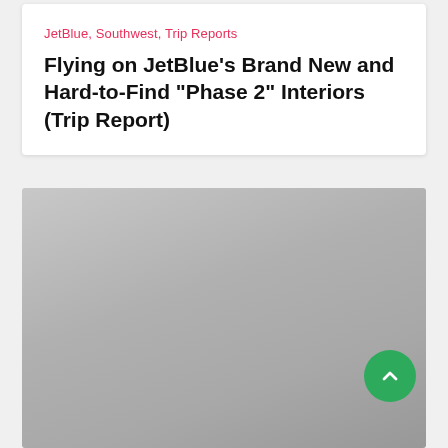JetBlue, Southwest, Trip Reports
Flying on JetBlue’s Brand New and Hard-to-Find “Phase 2” Interiors (Trip Report)
[Figure (photo): A photograph of airplane interior, shown as a large gray image block below the article card.]